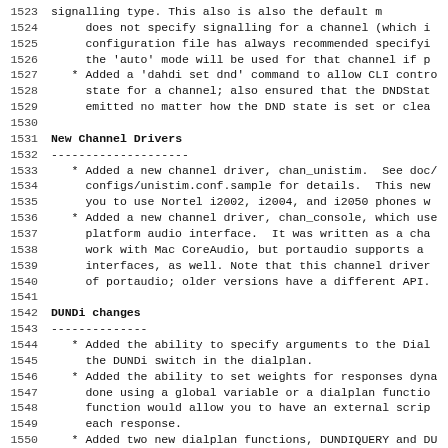1523  signalling type. This also is also the default m
1524       does not specify signalling for a channel (which i
1525       configuration file has always recommended specifyi
1526       the 'auto' mode will be used for that channel if p
1527     * Added a 'dahdi set dnd' command to allow CLI contro
1528       state for a channel; also ensured that the DNDStat
1529       emitted no matter how the DND state is set or clea
1530
1531 New Channel Drivers
1532 --------------------
1533     * Added a new channel driver, chan_unistim.  See doc/
1534       configs/unistim.conf.sample for details.  This new
1535       you to use Nortel i2002, i2004, and i2050 phones w
1536     * Added a new channel driver, chan_console, which use
1537       platform audio interface.  It was written as a cha
1538       work with Mac CoreAudio, but portaudio supports a
1539       interfaces, as well. Note that this channel driver
1540       of portaudio; older versions have a different API.
1541
1542 DUNDi changes
1543 --------------
1544     * Added the ability to specify arguments to the Dial
1545       the DUNDi switch in the dialplan.
1546     * Added the ability to set weights for responses dyna
1547       done using a global variable or a dialplan functio
1548       function would allow you to have an external scrip
1549       each response.
1550     * Added two new dialplan functions, DUNDIQUERY and DU
1551       functions will allow you to initiate a DUNDi query
1552       find out how many results there are, and access ea
1553     * Added the ability to specifiy a port for a dundi pe
1554
1555 ENUM changes